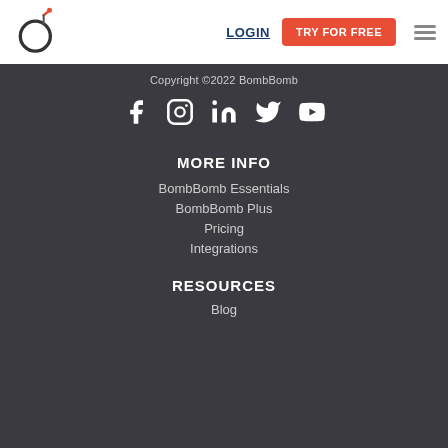[Figure (logo): BombBomb logo — bomb icon with orange fuse]
LOGIN
TRY FOR FREE
Copyright ©2022 BombBomb
[Figure (illustration): Social media icons: Facebook, Instagram, LinkedIn, Twitter, YouTube]
MORE INFO
BombBomb Essentials
BombBomb Plus
Pricing
Integrations
RESOURCES
Blog